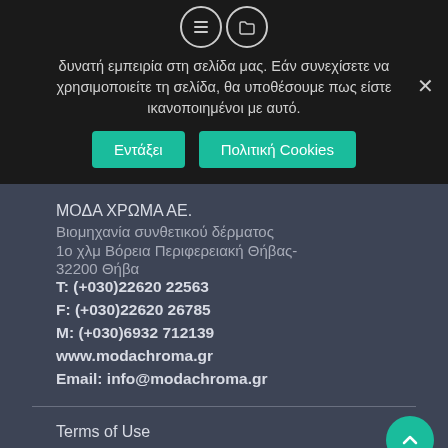[Figure (screenshot): Top dark bar with two circular icons (list icon and folder icon) centered at top]
δυνατή εμπειρία στη σελίδα μας. Εάν συνεχίσετε να χρησιμοποιείτε τη σελίδα, θα υποθέσουμε πως είστε ικανοποιημένοι με αυτό.
Εντάξει    Πολιτική Cookies
ΜΟΔΑ ΧΡΩΜΑ ΑΕ.
Βιομηχανία συνθετικού δέρματος
1ο χλμ Βόρεια Περιφερειακή Θήβας-
32200 Θήβα
T: (+030)22620 22563
F: (+030)22620 26785
M: (+030)6932 712139
www.modachroma.gr
Email: info@modachroma.gr
Terms of Use
Privacy